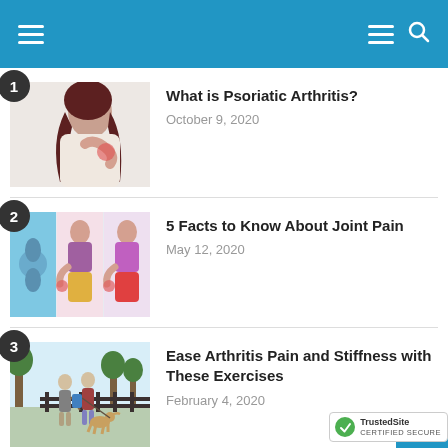Navigation header with hamburger menu and search icon
What is Psoriatic Arthritis? — October 9, 2020
5 Facts to Know About Joint Pain — May 12, 2020
Ease Arthritis Pain and Stiffness with These Exercises — February 4, 2020
Biggest Threats to Women (partial)
[Figure (screenshot): TrustedSite certified secure badge in bottom right corner]